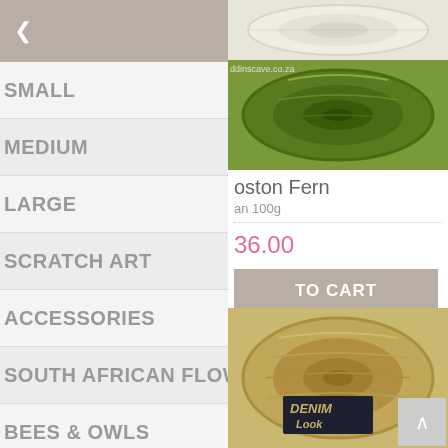Back
SMALL
MEDIUM
LARGE
SCRATCH ART
ACCESSORIES
SOUTH AFRICAN FLOWERS
BEES & OWLS
URE GOLD CHUNKY
[Figure (photo): Skein of cream/white yarn at top right]
[Figure (photo): Skein of green yarn labeled 'ddinscave.co.za']
oston Fern
an 100g
36.00
TO CART
[Figure (photo): Skein of tan/gold yarn with DENIM Look label]